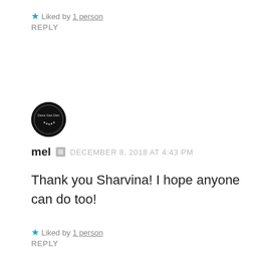Liked by 1 person
REPLY
[Figure (logo): Circular black avatar/logo with text 'Deca Gan Den' and decorative dots]
mel  DECEMBER 8, 2018 AT 4:43 PM
Thank you Sharvina! I hope anyone can do too!
Liked by 1 person
REPLY